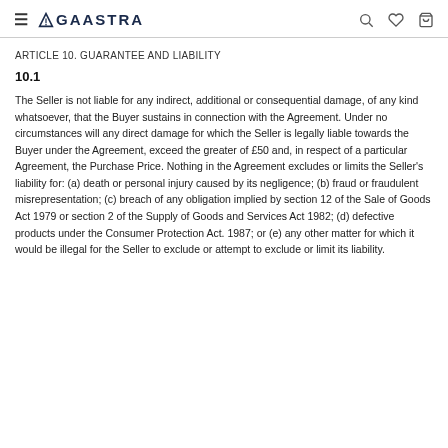≡ GAASTRA [search] [wishlist] [cart]
ARTICLE 10. GUARANTEE AND LIABILITY
10.1
The Seller is not liable for any indirect, additional or consequential damage, of any kind whatsoever, that the Buyer sustains in connection with the Agreement. Under no circumstances will any direct damage for which the Seller is legally liable towards the Buyer under the Agreement, exceed the greater of £50 and, in respect of a particular Agreement, the Purchase Price. Nothing in the Agreement excludes or limits the Seller's liability for: (a) death or personal injury caused by its negligence; (b) fraud or fraudulent misrepresentation; (c) breach of any obligation implied by section 12 of the Sale of Goods Act 1979 or section 2 of the Supply of Goods and Services Act 1982; (d) defective products under the Consumer Protection Act. 1987; or (e) any other matter for which it would be illegal for the Seller to exclude or attempt to exclude or limit its liability.